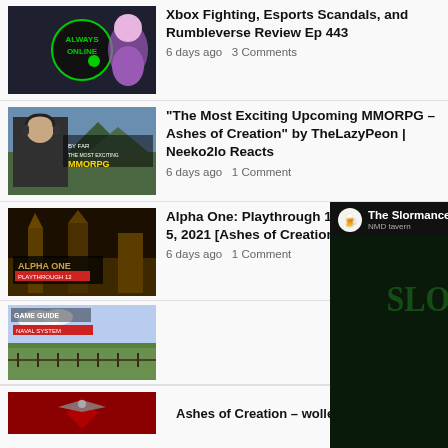[Figure (screenshot): Thumbnail for Always Online podcast with colorful cartoon character]
Xbox Fighting, Esports Scandals, and Rumbleverse Review Ep 443
6 days ago   3 Comments
[Figure (screenshot): Thumbnail for MMORPG video with man in headphones and fantasy landscape]
"The Most Exciting Upcoming MMORPG – Ashes of Creation" by TheLazyPeon | Neeko2lo Reacts
6 days ago   1 Comment
[Figure (screenshot): Thumbnail for Alpha One Playthrough 12 with dark fantasy architecture]
Alpha One: Playthrough 12 – Part 1 – Aug 5, 2021 [Ashes of Creation Gameplay]
6 days ago   1 Comment
[Figure (screenshot): YouTube video player overlay showing The Slormancer First Impressions video with play button]
[Figure (screenshot): Thumbnail for Game Guide Naval System video with green landscape]
[Figure (screenshot): Partial thumbnail with red background at bottom]
Ashes of Creation – wollen wir uns